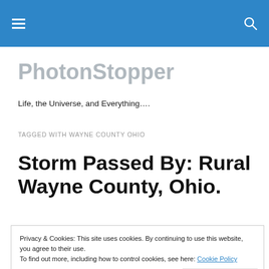PhotonStopper — navigation header bar
PhotonStopper
Life, the Universe, and Everything….
TAGGED WITH WAYNE COUNTY OHIO
Storm Passed By: Rural Wayne County, Ohio.
Privacy & Cookies: This site uses cookies. By continuing to use this website, you agree to their use.
To find out more, including how to control cookies, see here: Cookie Policy
Close and accept